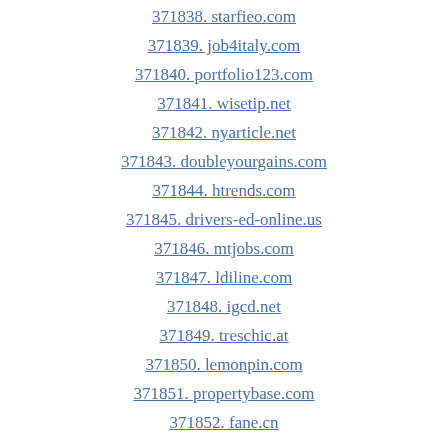371838. starfieo.com
371839. job4italy.com
371840. portfolio123.com
371841. wisetip.net
371842. nyarticle.net
371843. doubleyourgains.com
371844. htrends.com
371845. drivers-ed-online.us
371846. mtjobs.com
371847. ldiline.com
371848. igcd.net
371849. treschic.at
371850. lemonpin.com
371851. propertybase.com
371852. fane.cn